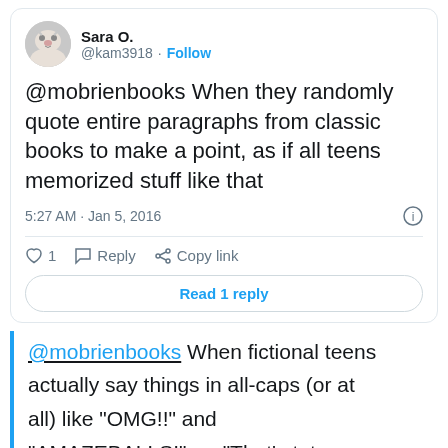[Figure (screenshot): Twitter/X tweet screenshot from user Sara O. (@kam3918) with a cat avatar image]
Sara O.
@kam3918 · Follow
@mobrienbooks When they randomly quote entire paragraphs from classic books to make a point, as if all teens memorized stuff like that
5:27 AM · Jan 5, 2016
♡ 1   Reply   Copy link
Read 1 reply
@mobrienbooks When fictional teens actually say things in all-caps (or at all) like "OMG!!" and "AMAZEBALLS!", or "That's totes so